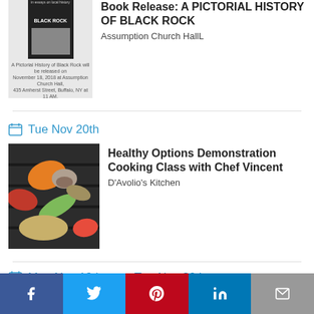[Figure (photo): Book cover of 'A Pictorial History of Black Rock' with event details below]
Book Release: A PICTORIAL HISTORY OF BLACK ROCK
Assumption Church HallL
Tue Nov 20th
[Figure (photo): Colorful grilled vegetables and fish on a grill pan]
Healthy Options Demonstration Cooking Class with Chef Vincent
D'Avolio's Kitchen
Mon Nov 19th   Tue Nov 20th